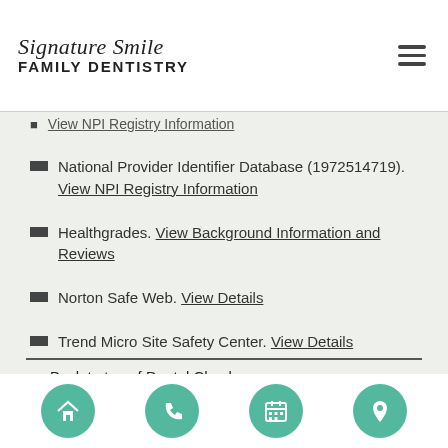Signature Smile FAMILY DENTISTRY
National Provider Identifier Database (1972514719). View NPI Registry Information
Healthgrades. View Background Information and Reviews
Norton Safe Web. View Details
Trend Micro Site Safety Center. View Details
Back to top of Dental Checkup